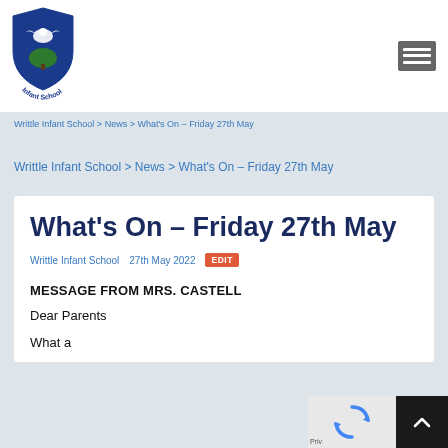[Figure (logo): Writtle Infant School logo with shield and bird, circular text reading Infant School]
Writtle Infant School > News > What's On – Friday 27th May
Writtle Infant School > News > What's On – Friday 27th May
What's On – Friday 27th May
Writtle Infant School   27th May 2022   EDIT
MESSAGE FROM MRS. CASTELL
Dear Parents
What a